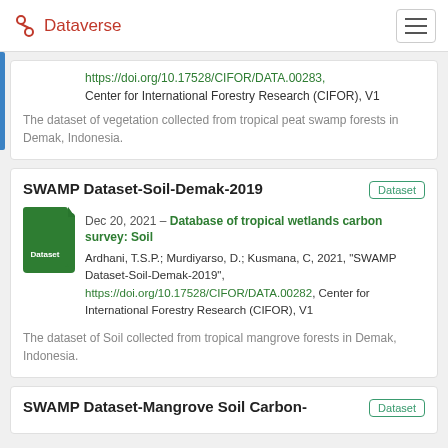Dataverse
https://doi.org/10.17528/CIFOR/DATA.00283,
Center for International Forestry Research (CIFOR), V1
The dataset of vegetation collected from tropical peat swamp forests in Demak, Indonesia.
SWAMP Dataset-Soil-Demak-2019
Dec 20, 2021 – Database of tropical wetlands carbon survey: Soil
Ardhani, T.S.P.; Murdiyarso, D.; Kusmana, C, 2021, "SWAMP Dataset-Soil-Demak-2019", https://doi.org/10.17528/CIFOR/DATA.00282, Center for International Forestry Research (CIFOR), V1
The dataset of Soil collected from tropical mangrove forests in Demak, Indonesia.
SWAMP Dataset-Mangrove Soil Carbon-